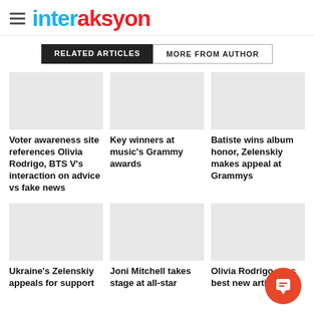interaksyon
RELATED ARTICLES | MORE FROM AUTHOR
Voter awareness site references Olivia Rodrigo, BTS V's interaction on advice vs fake news
Key winners at music's Grammy awards
Batiste wins album honor, Zelenskiy makes appeal at Grammys
Ukraine's Zelenskiy appeals for support
Joni Mitchell takes stage at all-star
Olivia Rodrigo wins best new artist, Silk